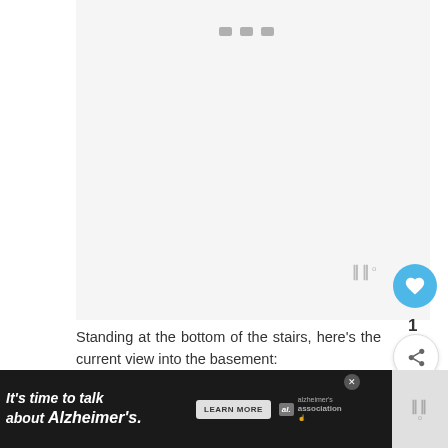[Figure (screenshot): Light gray content placeholder area with navigation dots at top]
[Figure (logo): Foursquare-style bar chart logo icon with degree symbol]
[Figure (other): Blue circular heart/like button]
1
[Figure (other): White circular share button]
Standing at the bottom of the stairs, here's the current view into the basement:
[Figure (photo): Interior basement photo showing staircase, white walls, recessed lighting, and wooden elements]
[Figure (other): WHAT'S NEXT panel with thumbnail of room and text: One Room Challenge...]
[Figure (screenshot): Advertisement banner: It's time to talk about Alzheimer's. with LEARN MORE button and Alzheimer's Association logo]